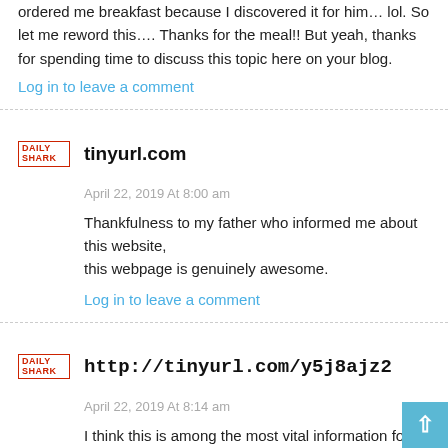ordered me breakfast because I discovered it for him… lol. So let me reword this…. Thanks for the meal!! But yeah, thanks for spending time to discuss this topic here on your blog.
Log in to leave a comment
tinyurl.com
April 22, 2019 At 8:00 am
Thankfulness to my father who informed me about this website, this webpage is genuinely awesome.
Log in to leave a comment
http://tinyurl.com/y5j8ajz2
April 22, 2019 At 8:14 am
I think this is among the most vital information for me. And i am glad reading your article. But wanna remark on